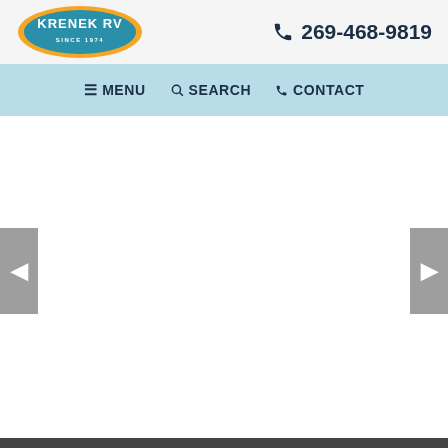[Figure (logo): Krenek RV logo: oval shape with blue/teal fill and orange border, white text reading KRENEK RV SINCE 1974]
📞 269-468-9819
≡ MENU   🔍 SEARCH   📞 CONTACT
[Figure (screenshot): Slideshow image area (blank/white content area with left and right navigation arrows)]